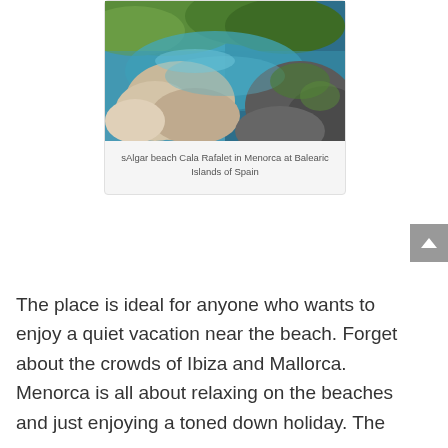[Figure (photo): Aerial/close-up photo of rocky coastal beach with green algae-covered rocks and clear blue-green water at sAlgar beach Cala Rafalet in Menorca, Balearic Islands of Spain]
sAlgar beach Cala Rafalet in Menorca at Balearic Islands of Spain
The place is ideal for anyone who wants to enjoy a quiet vacation near the beach. Forget about the crowds of Ibiza and Mallorca. Menorca is all about relaxing on the beaches and just enjoying a toned down holiday. The